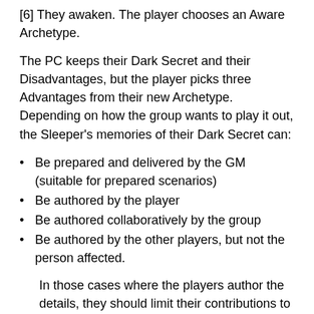[6] They awaken. The player chooses an Aware Archetype.
The PC keeps their Dark Secret and their Disadvantages, but the player picks three Advantages from their new Archetype. Depending on how the group wants to play it out, the Sleeper's memories of their Dark Secret can:
Be prepared and delivered by the GM (suitable for prepared scenarios)
Be authored by the player
Be authored collaboratively by the group
Be authored by the other players, but not the person affected.
In those cases where the players author the details, they should limit their contributions to vague memory fragments the GM can expand and build on later.